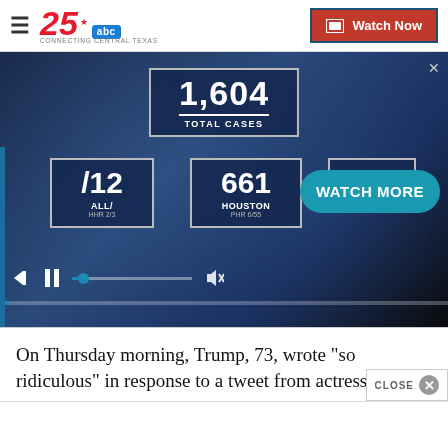KXXV 25 ABC — Connecting Central Texas | Watch Now
[Figure (screenshot): News broadcast screenshot showing COVID-19 statistics: 1,604 Total Cases; partial stats for Dallas (712, PHR 2/3), Houston (661, PHR 6/55), and a third city (165). Video player controls and a 'WATCH MORE' button overlay are visible.]
On Thursday morning, Trump, 73, wrote "so ridiculous" in response to a tweet from actress and